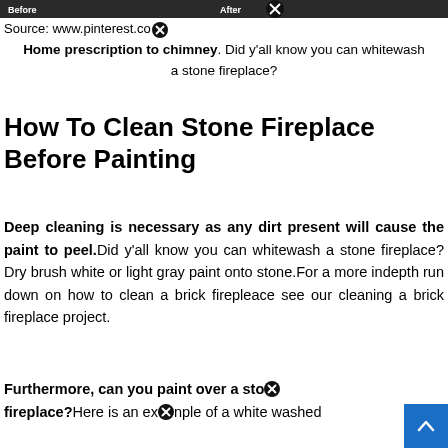[Figure (photo): Before and After image strip showing a fireplace, partially obscured by a close button icon]
Source: www.pinterest.co[close icon]
Home prescription to chimney. Did y'all know you can whitewash a stone fireplace?
How To Clean Stone Fireplace Before Painting
Deep cleaning is necessary as any dirt present will cause the paint to peel.Did y'all know you can whitewash a stone fireplace?Dry brush white or light gray paint onto stone.For a more indepth run down on how to clean a brick firepleace see our cleaning a brick fireplace project.
Furthermore, can you paint over a sto[ne] fireplace?Here is an ex[close icon]nple of a white washed